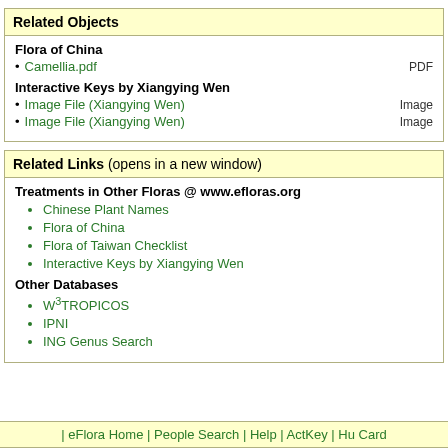Related Objects
Flora of China
Camellia.pdf  PDF
Interactive Keys by Xiangying Wen
Image File (Xiangying Wen)  Image
Image File (Xiangying Wen)  Image
Related Links (opens in a new window)
Treatments in Other Floras @ www.efloras.org
Chinese Plant Names
Flora of China
Flora of Taiwan Checklist
Interactive Keys by Xiangying Wen
Other Databases
W3TROPICOS
IPNI
ING Genus Search
| eFlora Home | People Search | Help | ActKey | Hu Card